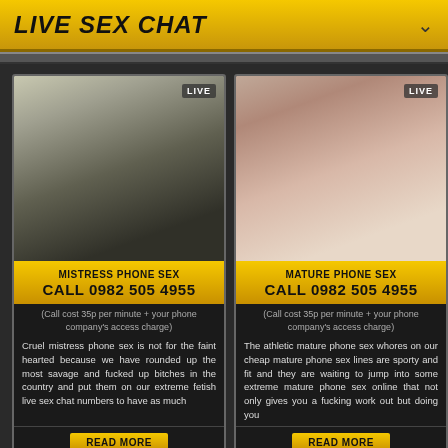LIVE SEX CHAT
[Figure (photo): Woman in black lace lingerie holding a cane, with LIVE badge]
MISTRESS PHONE SEX
CALL 0982 505 4955
(Call cost 35p per minute + your phone company's access charge)
Cruel mistress phone sex is not for the faint hearted because we have rounded up the most savage and fucked up bitches in the country and put them on our extreme fetish live sex chat numbers to have as much...
READ MORE
[Figure (photo): Woman in white lingerie/stockings posed explicitly, with LIVE badge]
MATURE PHONE SEX
CALL 0982 505 4955
(Call cost 35p per minute + your phone company's access charge)
The athletic mature phone sex whores on our cheap mature phone sex lines are sporty and fit and they are waiting to jump into some extreme mature phone sex online that not only gives you a fucking work out but doing you...
READ MORE
[Figure (photo): Partial view of another card at bottom left with LIVE badge]
[Figure (photo): Partial view of another card at bottom right]
TOP